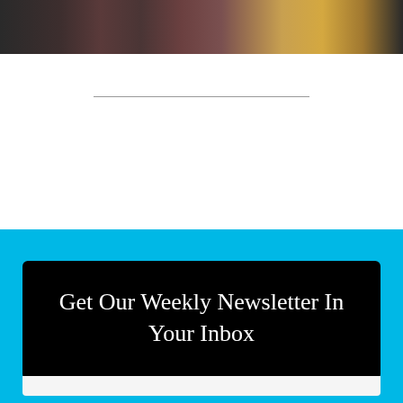[Figure (photo): Partial photograph of people, appears to be a social or event photo, dark background with figures visible]
———
Get Our Weekly Newsletter In Your Inbox